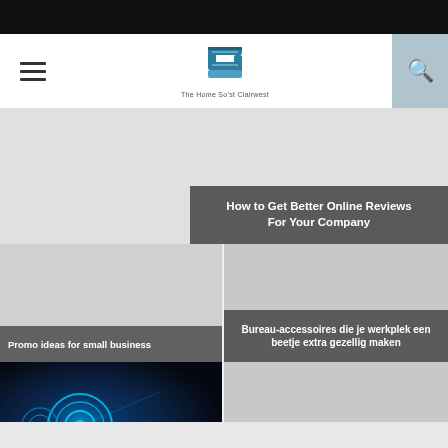The Home So'st Clairwest
[Figure (photo): Featured article image - gray placeholder with dark overlay showing title 'How to Get Better Online Reviews For Your Company']
How to Get Better Online Reviews For Your Company
[Figure (photo): Gray placeholder image for promo article]
Promo ideas for small business
[Figure (photo): Gray placeholder for bureau-accessoires article]
Bureau-accessoires die je werkplek een beetje extra gezellig maken
[Figure (photo): Tech/gear image with blue glowing circles and hand touching digital interface]
Best franchise business in village
[Figure (photo): Gray placeholder for Netherlands article]
3 reasons why you should go to the Netherlands!